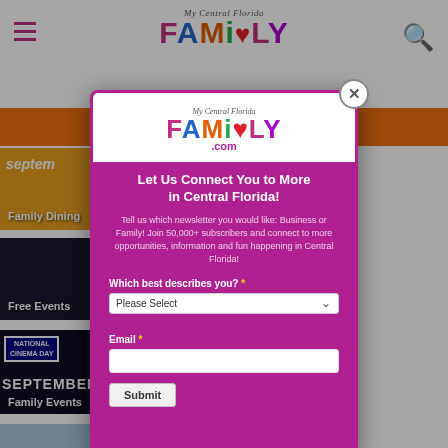My Central Florida FAMILY
[Figure (screenshot): Website screenshot with modal popup for My Central Florida Family newsletter signup]
Let Us Connect You to More in Central Florida!
Tell us which newsletter you would like: Business or Family! Join 50,000+ subscribers and connect to more opportunities, information and fun happening in Central Florida!
Which best describes you? Please Select
Email
Submit
per Family
Free Month
s are $3 in
berfest 2022
Family Dining
Free Events
Family Events